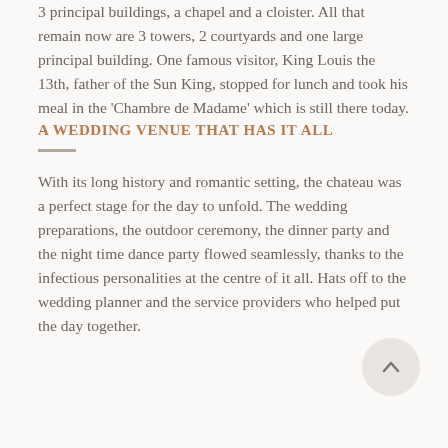3 principal buildings, a chapel and a cloister. All that remain now are 3 towers, 2 courtyards and one large principal building. One famous visitor, King Louis the 13th, father of the Sun King, stopped for lunch and took his meal in the 'Chambre de Madame' which is still there today.
A WEDDING VENUE THAT HAS IT ALL
With its long history and romantic setting, the chateau was a perfect stage for the day to unfold. The wedding preparations, the outdoor ceremony, the dinner party and the night time dance party flowed seamlessly, thanks to the infectious personalities at the centre of it all. Hats off to the wedding planner and the service providers who helped put the day together.